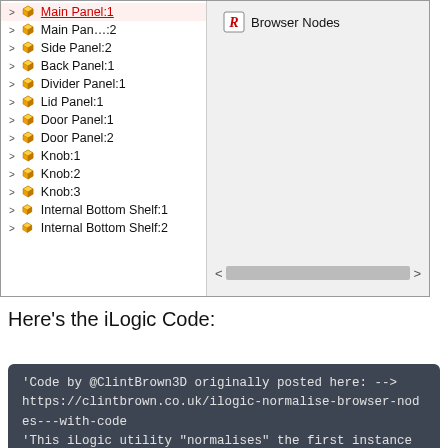[Figure (screenshot): Screenshot of a 3D CAD software browser/tree panel showing assembly components: Main Panel:1 (selected/highlighted in red), Main Panel:2, Side Panel:2, Back Panel:1, Divider Panel:1, Lid Panel:1, Door Panel:1, Door Panel:2, Knob:1, Knob:2, Knob:3, Internal Bottom Shelf:1, Internal Bottom Shelf:2. Each item has a yellow 3D cube icon and an expand arrow. On the right side is a 'Browser Nodes' panel with the Autodesk logo and a horizontal scrollbar at the bottom.]
Here's the iLogic Code:
'Code by @ClintBrown3D originally posted here: -->
https://clintbrown.co.uk/ilogic-normalise-browser-nodes---with-code
'This iLogic utility "normalises" the first instance of a browser node in an assembly